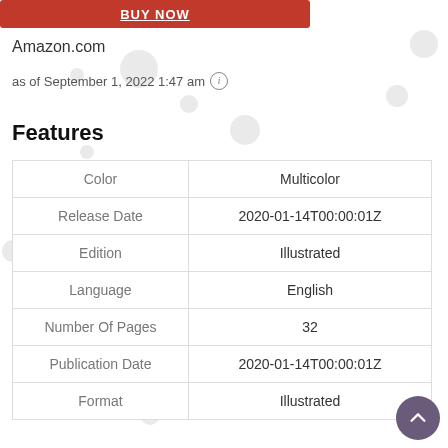[Figure (other): Red banner button at top of page with white underlined text]
Amazon.com
as of September 1, 2022 1:47 am ⓘ
Features
|  |  |
| --- | --- |
| Color | Multicolor |
| Release Date | 2020-01-14T00:00:01Z |
| Edition | Illustrated |
| Language | English |
| Number Of Pages | 32 |
| Publication Date | 2020-01-14T00:00:01Z |
| Format | Illustrated |